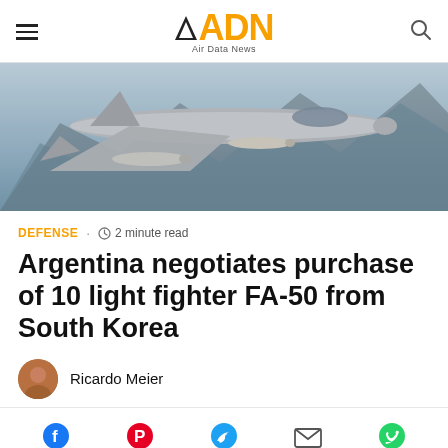ADN Air Data News
[Figure (photo): Fighter jet (FA-50 style) flying with missiles/weapons, mountains in background, blue sky]
DEFENSE · 2 minute read
Argentina negotiates purchase of 10 light fighter FA-50 from South Korea
Ricardo Meier
[Figure (infographic): Social share icons: Facebook, Pinterest, Twitter, Email, WhatsApp]